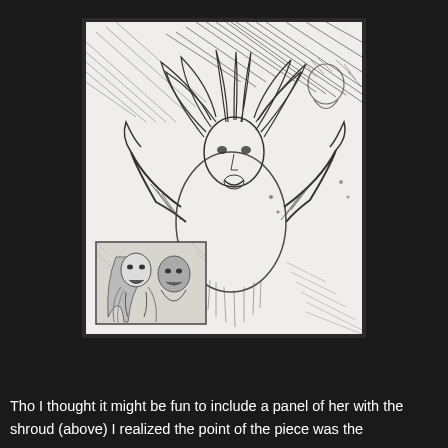[Figure (illustration): Pencil sketch illustration on white paper showing a dramatic figure with wild hair and outstretched arms, appearing distressed or expressive. In the lower left portion of the sketch there is a smaller inset panel showing a woman with long blonde hair and an open mouth expression, with another figure beside her.]
Tho I thought it might be fun to include a panel of her with the shroud (above) I realized the point of the piece was the